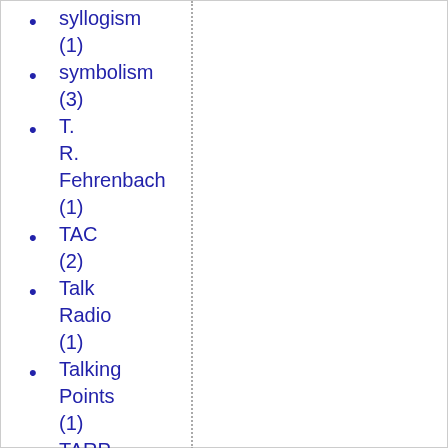syllogism (1)
symbolism (3)
T. R. Fehrenbach (1)
TAC (2)
Talk Radio (1)
Talking Points (1)
TARP (2)
Tax Cuts (1)
taxes (1)
Tebow (1)